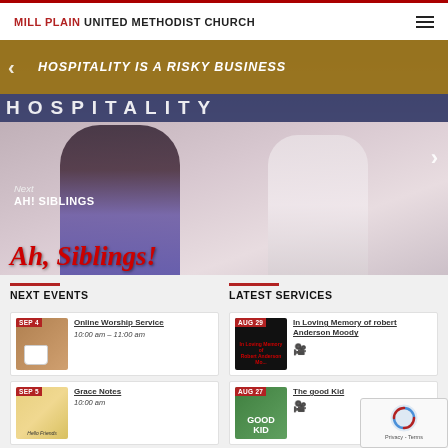MILL PLAIN UNITED METHODIST CHURCH
[Figure (photo): Church website hero slideshow showing 'Hospitality Is A Risky Business' banner at top with photo of child and adult, text overlay reading 'Next AH! SIBLINGS' and 'Ah, Siblings!']
NEXT EVENTS
LATEST SERVICES
SEP 4 Online Worship Service — 10:00 am – 11:00 am
AUG 29 In Loving Memory of robert Anderson Moody
SEP 5 Grace Notes — 10:00 am
AUG 27 The good Kid